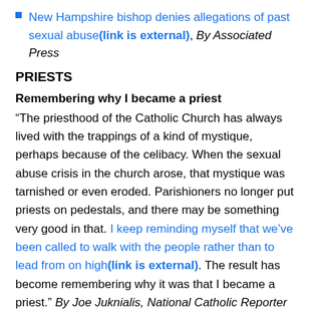New Hampshire bishop denies allegations of past sexual abuse(link is external), By Associated Press
PRIESTS
Remembering why I became a priest
“The priesthood of the Catholic Church has always lived with the trappings of a kind of mystique, perhaps because of the celibacy. When the sexual abuse crisis in the church arose, that mystique was tarnished or even eroded. Parishioners no longer put priests on pedestals, and there may be something very good in that. I keep reminding myself that we’ve been called to walk with the people rather than to lead from on high(link is external). The result has become remembering why it was that I became a priest.” By Joe Juknialis, National Catholic Reporter